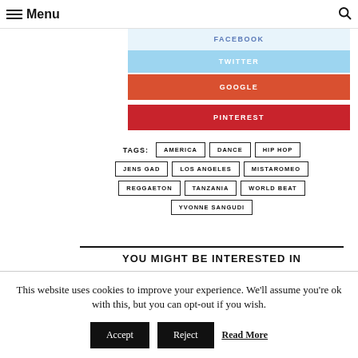Menu
FACEBOOK
TWITTER
GOOGLE
PINTEREST
TAGS: AMERICA   DANCE   HIP HOP   JENS GAD   LOS ANGELES   MISTAROMEO   REGGAETON   TANZANIA   WORLD BEAT   YVONNE SANGUDI
YOU MIGHT BE INTERESTED IN
This website uses cookies to improve your experience. We'll assume you're ok with this, but you can opt-out if you wish.   Accept   Reject   Read More